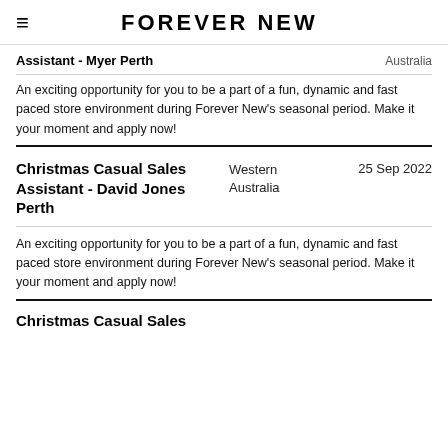FOREVER NEW
Assistant - Myer Perth	Australia
An exciting opportunity for you to be a part of a fun, dynamic and fast paced store environment during Forever New's seasonal period. Make it your moment and apply now!
Christmas Casual Sales Assistant - David Jones Perth	Western Australia	25 Sep 2022
An exciting opportunity for you to be a part of a fun, dynamic and fast paced store environment during Forever New's seasonal period. Make it your moment and apply now!
Christmas Casual Sales...